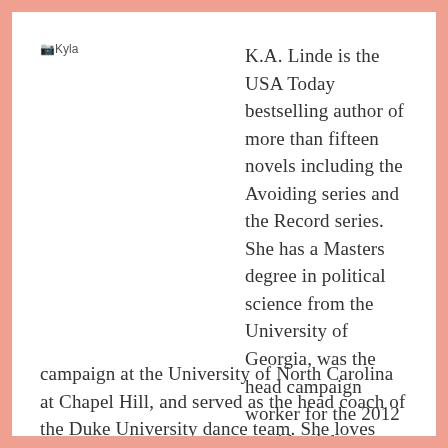[Figure (photo): Placeholder image labeled Kyla]
K.A. Linde is the USA Today bestselling author of more than fifteen novels including the Avoiding series and the Record series. She has a Masters degree in political science from the University of Georgia, was the head campaign worker for the 2012 presidential campaign at the University of North Carolina at Chapel Hill, and served as the head coach of the Duke University dance team. She loves reading fantasy